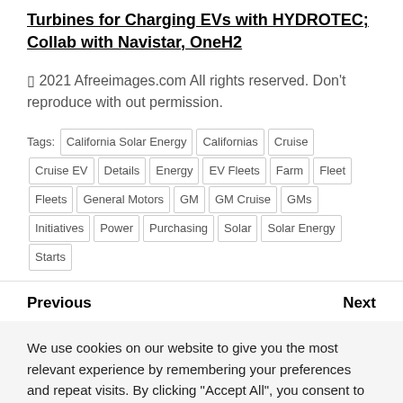Turbines for Charging EVs with HYDROTEC; Collab with Navistar, OneH2
© 2021 Afreeimages.com All rights reserved. Don't reproduce with out permission.
Tags: California Solar Energy | Californias | Cruise | Cruise EV | Details | Energy | EV Fleets | Farm | Fleet | Fleets | General Motors | GM | GM Cruise | GMs | Initiatives | Power | Purchasing | Solar | Solar Energy | Starts
Previous    Next
We use cookies on our website to give you the most relevant experience by remembering your preferences and repeat visits. By clicking "Accept All", you consent to the use of ALL the cookies. However, you may visit "Cookie Settings" to provide a controlled consent.
Cookie Settings   Accept All